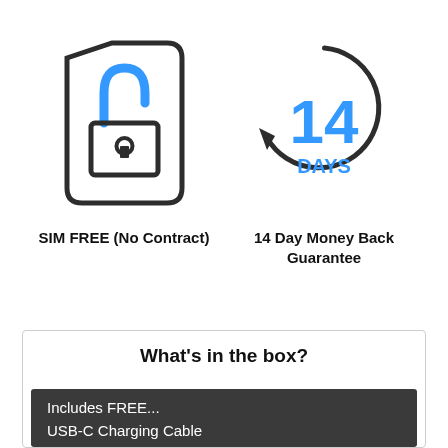[Figure (illustration): SIM card icon with an unlocked padlock in blue, outlined in dark gray]
SIM FREE (No Contract)
[Figure (illustration): Circular arrow icon with '14 DAYS' text in blue, representing a 14-day money back guarantee]
14 Day Money Back Guarantee
What's in the box?
Includes FREE...
USB-C Charging Cable